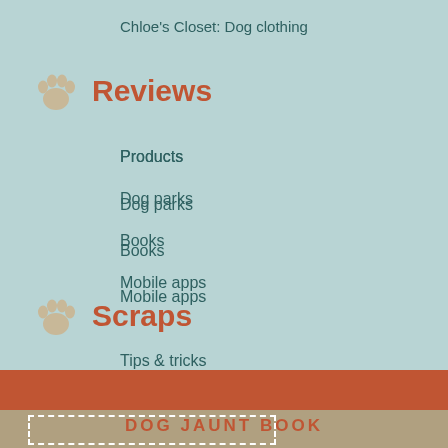Chloe's Closet: Dog clothing
Reviews
Products
Dog parks
Books
Mobile apps
Scraps
Tips & tricks
Chloe's Clicks
Photo Friday
NYT 36 hours
Press kit
DOG JAUNT BOOK